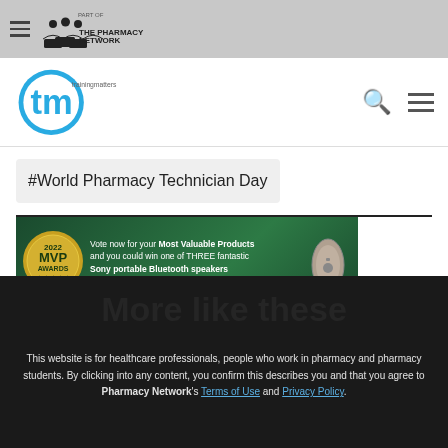Part of THE PHARMACY NETWORK
[Figure (logo): Training Matters (tm) logo with teal circle]
#World Pharmacy Technician Day
[Figure (infographic): 2022 MVP Awards banner: Vote now for your Most Valuable Products and you could win one of THREE fantastic Sony portable Bluetooth speakers. VOTE NOW button. Gold MVP badge and speaker image.]
This website is for healthcare professionals, people who work in pharmacy and pharmacy students. By clicking into any content, you confirm this describes you and that you agree to Pharmacy Network's Terms of Use and Privacy Policy.